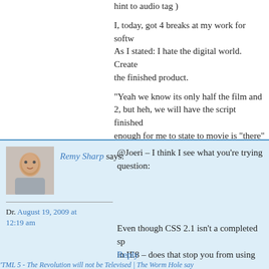hint to audio tag )
I, today, got 4 breaks at my work for softw... As I stated: I hate the digital world. Create... the finished product.
“Yeah we know its only half the film and 2, but heh, we will have the script finished enough for me to state to movie is “there”
I hope you can at least folow my drift a bi
Reply
Remy Sharp says: @Joeri – I think I see what you’re trying question:
Dr. August 19, 2009 at 12:19 am
Even though CSS 2.1 isn’t a completed sp in IE8 – does that stop you from using CS
If not, then you catch my drift too ;-)
Reply
'TML 5 - The Revolution will not be Televised | The Worm Hole says